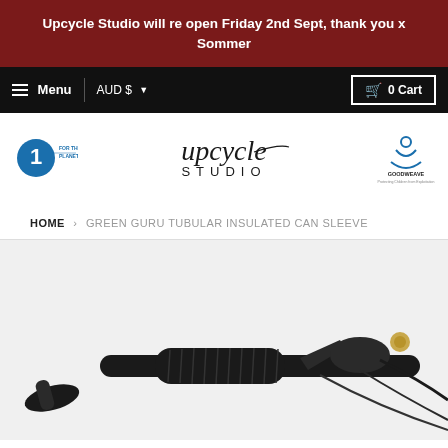Upcycle Studio will re open Friday 2nd Sept, thank you x Sommer
≡ Menu  AUD $  0 Cart
[Figure (logo): Upcycle Studio logo with cursive and sans-serif text, flanked by '1% for the Planet' badge on left and GoodWeave logo on right]
HOME › GREEN GURU TUBULAR INSULATED CAN SLEEVE
[Figure (photo): Close-up photo of a bicycle handlebar with black rubber grip and brake/gear components, partially cropped]